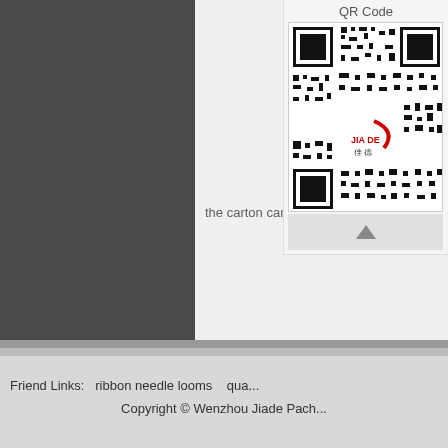[Figure (illustration): Dark gray left panel / product image background]
the carton can be sealed wi...
[Figure (other): QR Code panel with Jiade brand QR code and logo]
Sample:condom
[Figure (other): Contact Us panel with photo, Skype and WhatsApp options]
Category: JDZ-12...
Related Category
Friend Links:   ribbon needle looms   qua...
Copyright © Wenzhou Jiade Pach...